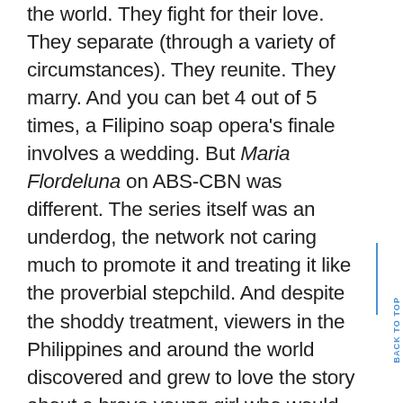the world. They fight for their love. They separate (through a variety of circumstances). They reunite. They marry. And you can bet 4 out of 5 times, a Filipino soap opera's finale involves a wedding. But Maria Flordeluna on ABS-CBN was different. The series itself was an underdog, the network not caring much to promote it and treating it like the proverbial stepchild. And despite the shoddy treatment, viewers in the Philippines and around the world discovered and grew to love the story about a brave young girl who would sacrifice everything to keep her family together. Two years later, Maria Flordeluna still holds the record as the most watched television program in the Philippines in nationwide ratings history and no other Philippine drama has matched the powerful, emotional, and